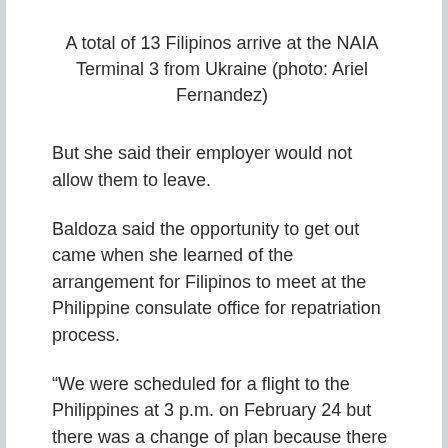A total of 13 Filipinos arrive at the NAIA Terminal 3 from Ukraine (photo: Ariel Fernandez)
But she said their employer would not allow them to leave.
Baldoza said the opportunity to get out came when she learned of the arrangement for Filipinos to meet at the Philippine consulate office for repatriation process.
“We were scheduled for a flight to the Philippines at 3 p.m. on February 24 but there was a change of plan because there were